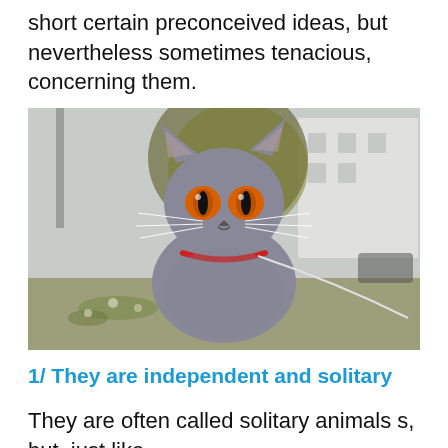short certain preconceived ideas, but nevertheless sometimes tenacious, concerning them.
[Figure (photo): A grey British Shorthair cat with vivid orange eyes and a red collar with a leash, sitting upright outdoors with a blurred background of trees and buildings.]
1/ They are independent and solitary
They are often called solitary animals s, but, just like